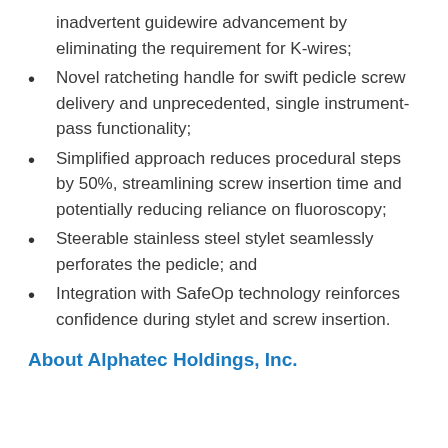inadvertent guidewire advancement by eliminating the requirement for K-wires;
Novel ratcheting handle for swift pedicle screw delivery and unprecedented, single instrument-pass functionality;
Simplified approach reduces procedural steps by 50%, streamlining screw insertion time and potentially reducing reliance on fluoroscopy;
Steerable stainless steel stylet seamlessly perforates the pedicle; and
Integration with SafeOp technology reinforces confidence during stylet and screw insertion.
About Alphatec Holdings, Inc.